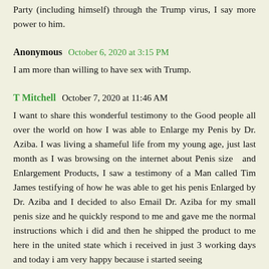Party (including himself) through the Trump virus, I say more power to him.
Anonymous  October 6, 2020 at 3:15 PM
I am more than willing to have sex with Trump.
T Mitchell  October 7, 2020 at 11:46 AM
I want to share this wonderful testimony to the Good people all over the world on how I was able to Enlarge my Penis by Dr. Aziba. I was living a shameful life from my young age, just last month as I was browsing on the internet about Penis size  and Enlargement Products, I saw a testimony of a Man called Tim James testifying of how he was able to get his penis Enlarged by Dr. Aziba and I decided to also Email Dr. Aziba for my small penis size and he quickly respond to me and gave me the normal instructions which i did and then he shipped the product to me here in the united state which i received in just 3 working days and today i am very happy because i started seeing